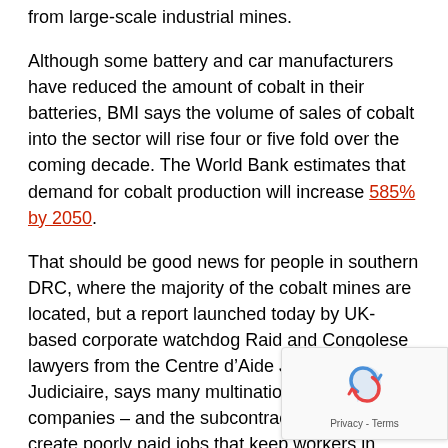from large-scale industrial mines.
Although some battery and car manufacturers have reduced the amount of cobalt in their batteries, BMI says the volume of sales of cobalt into the sector will rise four or five fold over the coming decade. The World Bank estimates that demand for cobalt production will increase 585% by 2050.
That should be good news for people in southern DRC, where the majority of the cobalt mines are located, but a report launched today by UK-based corporate watchdog Raid and Congolese lawyers from the Centre d’Aide Juridico-Judiciaire, says many multinational mining companies – and the subcontractors they hire – create poorly paid jobs that keep workers in poverty.
“Cobalt is an essential mineral for the green transition, must not turn away from the abusive labour conditions that